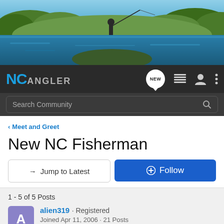[Figure (photo): Hero banner photo of a person fly fishing in a river with green trees and hills in background]
[Figure (logo): NC Angler logo in blue and grey on dark navigation bar with NEW chat bubble icon, list icon, user icon, and more options icon]
Search Community
< Meet and Greet
New NC Fisherman
→ Jump to Latest
+ Follow
1 - 5 of 5 Posts
alien319 · Registered
Joined Apr 11, 2006 · 21 Posts